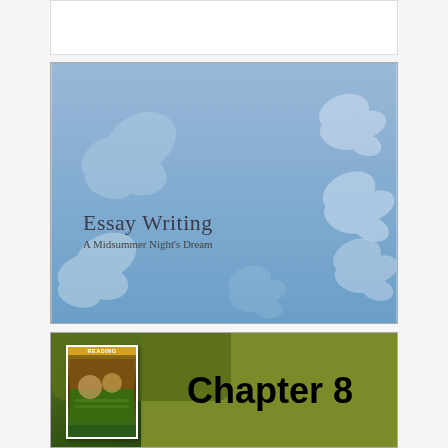[Figure (screenshot): White empty rectangle at the top]
[Figure (illustration): Slide with blue gradient background featuring white butterfly silhouettes and text 'Essay Writing / A Midsummer Night's Dream']
Essay Writing
A Midsummer Night's Dream
[Figure (screenshot): Partial view of a textbook chapter page showing 'Chapter 8' with a reading book cover on an olive/green background]